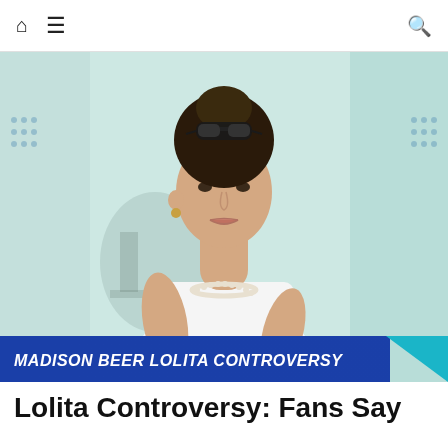Navigation bar with home icon, menu icon, and search icon
[Figure (photo): Young woman with dark hair in a bun, sunglasses on top of her head, wearing a white tank top and pearl necklace, standing against a light teal/green background. A blue banner overlaid at the bottom reads 'MADISON BEER LOLITA CONTROVERSY' in bold white italic text.]
Lolita Controversy: Fans Say